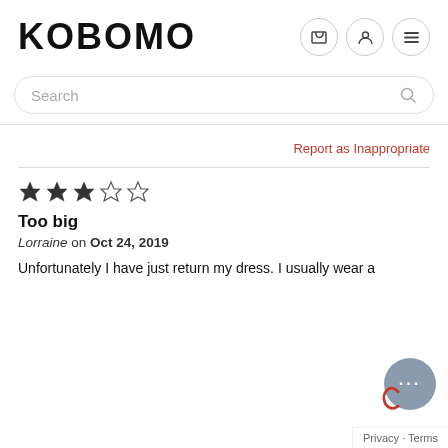KOBOMO
Search
Report as Inappropriate
★★★☆☆ (3 out of 5 stars)
Too big
Lorraine on Oct 24, 2019
Unfortunately I have just return my dress. I usually wear a